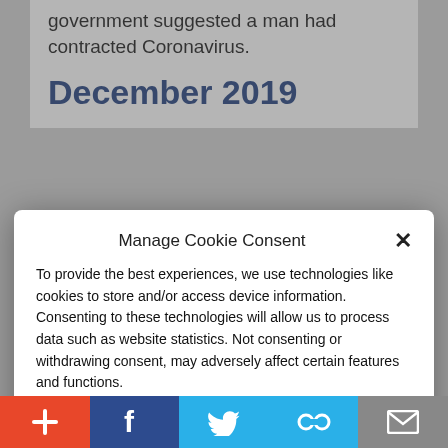government suggested a man had contracted Coronavirus.
December 2019
Manage Cookie Consent
To provide the best experiences, we use technologies like cookies to store and/or access device information. Consenting to these technologies will allow us to process data such as website statistics. Not consenting or withdrawing consent, may adversely affect certain features and functions.
Accept
Cookie Policy   Privacy Policy
Dec. 27: Wuhan Central Hospital took in